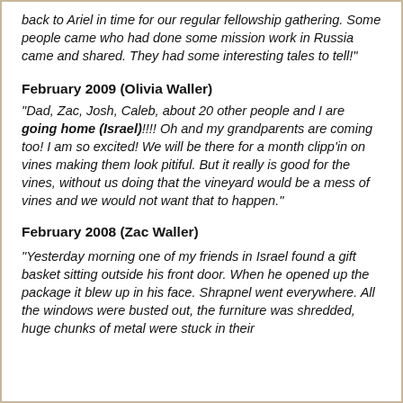back to Ariel in time for our regular fellowship gathering. Some people came who had done some mission work in Russia came and shared. They had some interesting tales to tell!"
February 2009 (Olivia Waller)
“Dad, Zac, Josh, Caleb, about 20 other people and I are going home (Israel)!!!! Oh and my grandparents are coming too! I am so excited! We will be there for a month clipp’in on vines making them look pitiful. But it really is good for the vines, without us doing that the vineyard would be a mess of vines and we would not want that to happen.”
February 2008 (Zac Waller)
“Yesterday morning one of my friends in Israel found a gift basket sitting outside his front door. When he opened up the package it blew up in his face. Shrapnel went everywhere. All the windows were busted out, the furniture was shredded, huge chunks of metal were stuck in their